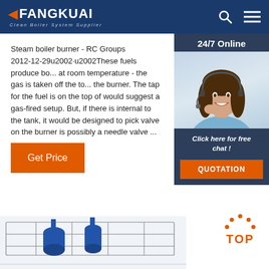FANGKUAI - Clean Boiler System Supplier
Steam boiler burner - RC Groups
2012-12-29u2002·u2002These fuels produce bo... at room temperature - the gas is taken off the to... the burner. The tap for the fuel is on the top of would suggest a gas-fired setup. But, if there is internal to the tank, it would be designed to pick valve on the burner is possibly a needle valve ...
[Figure (photo): Customer service representative woman with headset smiling, with 24/7 Online banner and chat/quotation widget overlay]
Get Price
[Figure (infographic): TOP button with orange dotted arc above the text TOP]
[Figure (photo): Partial view of an industrial boiler system with blue components and scaffolding at the bottom of the page]